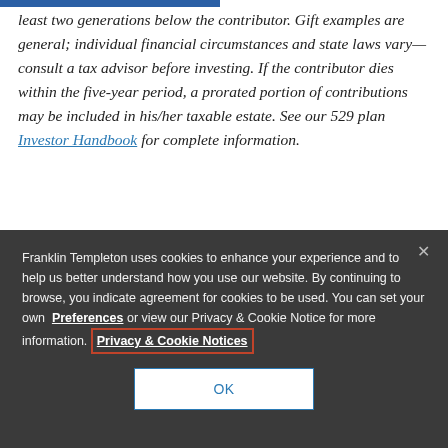least two generations below the contributor. Gift examples are general; individual financial circumstances and state laws vary—consult a tax advisor before investing. If the contributor dies within the five-year period, a prorated portion of contributions may be included in his/her taxable estate. See our 529 plan Investor Handbook for complete information.
Franklin Templeton uses cookies to enhance your experience and to help us better understand how you use our website. By continuing to browse, you indicate agreement for cookies to be used. You can set your own Preferences or view our Privacy & Cookie Notice for more information. Privacy & Cookie Notices